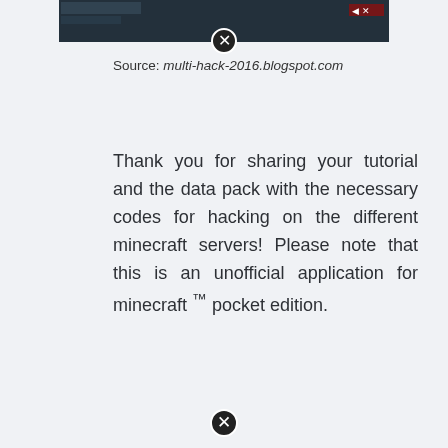[Figure (screenshot): Screenshot of a Minecraft server hacking tutorial video thumbnail with dark background]
Source: multi-hack-2016.blogspot.com
Thank you for sharing your tutorial and the data pack with the necessary codes for hacking on the different minecraft servers! Please note that this is an unofficial application for minecraft ™ pocket edition.